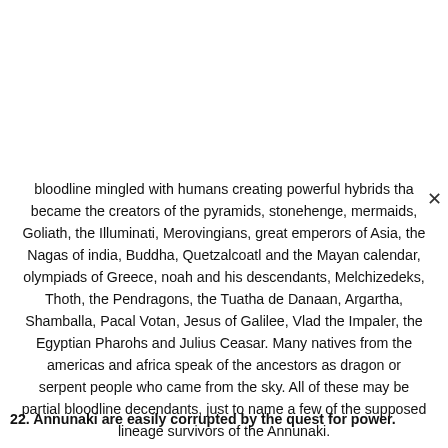bloodline mingled with humans creating powerful hybrids that became the creators of the pyramids, stonehenge, mermaids, Goliath, the Illuminati, Merovingians, great emperors of Asia, the Nagas of india, Buddha, Quetzalcoatl and the Mayan calendar, olympiads of Greece, noah and his descendants, Melchizedeks, Thoth, the Pendragons, the Tuatha de Danaan, Argartha, Shamballa, Pacal Votan, Jesus of Galilee, Vlad the Impaler, the Egyptian Pharohs and Julius Ceasar. Many natives from the americas and africa speak of the ancestors as dragon or serpent people who came from the sky. All of these may be partial bloodline decendants, just to name a few of the supposed lineage survivors of the Annunaki.
22. Annunaki are easily corrupted by the quest for power.